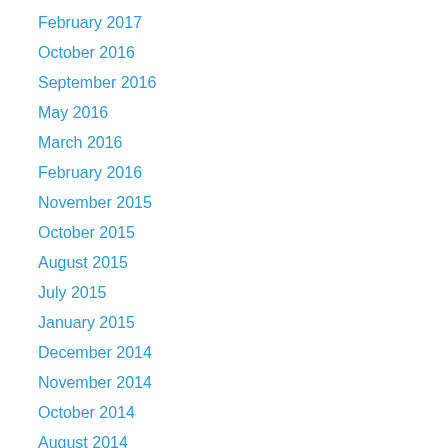February 2017
October 2016
September 2016
May 2016
March 2016
February 2016
November 2015
October 2015
August 2015
July 2015
January 2015
December 2014
November 2014
October 2014
August 2014
July 2014
June 2014
May 2014
March 2014
February 2014